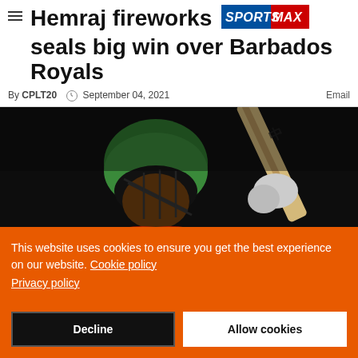Hemraj fireworks seals big win over Barbados Royals
By CPLT20  September 04, 2021  Email
[Figure (photo): Cricket player in green helmet and red uniform raising a bat]
This website uses cookies to ensure you get the best experience on our website. Cookie policy Privacy policy
Decline  Allow cookies